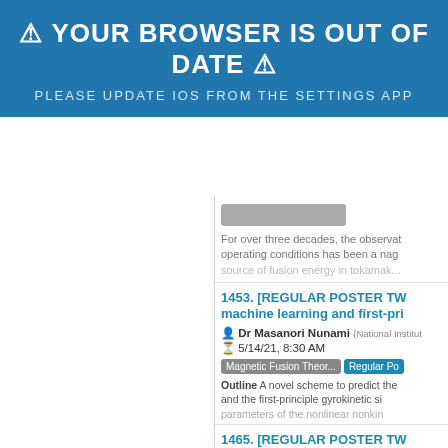⚠ YOUR BROWSER IS OUT OF DATE ⚠
PLEASE UPDATE IOS FROM THE SETTINGS APP
For over three decades, the observat... operating conditions has been a nag... source of fusion energy in tokamak...
1453. [REGULAR POSTER TW... machine learning and first-pri...
Dr Masanori Nunami (National Institu...)
5/14/21, 8:30 AM
Magnetic Fusion Theor...  Regular Po...
Outline A novel scheme to predict the... and the first-principle gyrokinetic si... parameters of the nonlinear nonkin...
1465. [REGULAR POSTER TW...
Prof. Rudolf Neu (MPI for Plasma Phys...)
5/14/21, 8:30 AM
Fusion Energy Technol...  Regular Po...